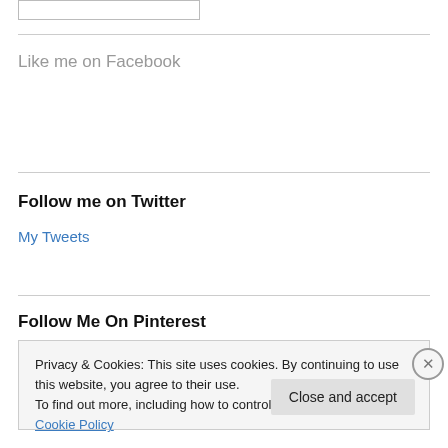[input box]
Like me on Facebook
Follow me on Twitter
My Tweets
Follow Me On Pinterest
Privacy & Cookies: This site uses cookies. By continuing to use this website, you agree to their use.
To find out more, including how to control cookies, see here: Cookie Policy
Close and accept